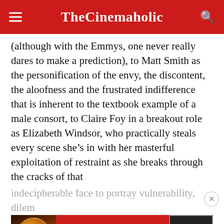TheCinemaholic
(although with the Emmys, one never really dares to make a prediction), to Matt Smith as the personification of the envy, the discontent, the aloofness and the frustrated indifference that is inherent to the textbook example of a male consort, to Claire Foy in a breakout role as Elizabeth Windsor, who practically steals every scene she’s in with her masterful exploitation of restraint as she breaks through the cracks of that
indecipherable face to portray vulnerability, dilem
[Figure (other): Seamless food delivery advertisement banner showing pizza image on left, red Seamless logo in center, and ORDER NOW button on right with dark background.]
ADVERTISEMENT